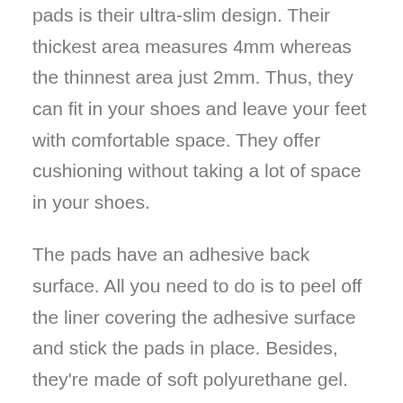pads is their ultra-slim design. Their thickest area measures 4mm whereas the thinnest area just 2mm. Thus, they can fit in your shoes and leave your feet with comfortable space. They offer cushioning without taking a lot of space in your shoes.
The pads have an adhesive back surface. All you need to do is to peel off the liner covering the adhesive surface and stick the pads in place. Besides, they're made of soft polyurethane gel. Their softness makes them offer your forefoot with natural support for enhanced comfort. The polyurethane material is also durable and won't wear out soon.